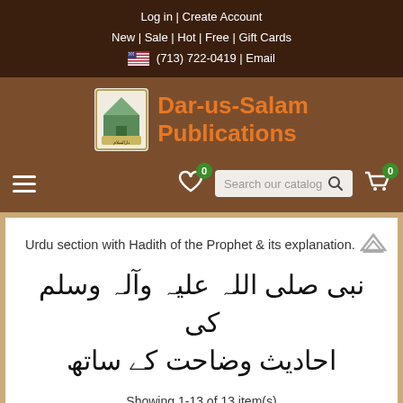Log in | Create Account
New | Sale | Hot | Free | Gift Cards
(713) 722-0419 | Email
[Figure (logo): Dar-us-Salam Publications logo with building icon and orange text]
Urdu section with Hadith of the Prophet & its explanation.
نبی صلی اللہ علیہ وآلہ وسلم کی احادیث وضاحت کے ساتھ
Showing 1-13 of 13 item(s)